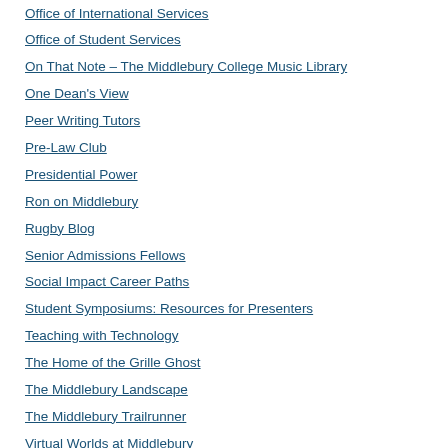Office of International Services
Office of Student Services
On That Note – The Middlebury College Music Library
One Dean's View
Peer Writing Tutors
Pre-Law Club
Presidential Power
Ron on Middlebury
Rugby Blog
Senior Admissions Fellows
Social Impact Career Paths
Student Symposiums: Resources for Presenters
Teaching with Technology
The Home of the Grille Ghost
The Middlebury Landscape
The Middlebury Trailrunner
Virtual Worlds at Middlebury